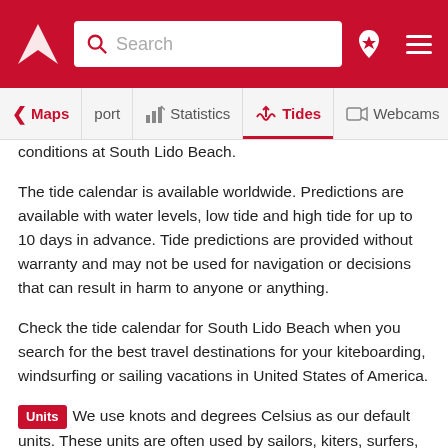Search [search bar] [location icon] [menu icon]
Maps | port | Statistics | Tides | Webcams
conditions at South Lido Beach.
The tide calendar is available worldwide. Predictions are available with water levels, low tide and high tide for up to 10 days in advance. Tide predictions are provided without warranty and may not be used for navigation or decisions that can result in harm to anyone or anything.
Check the tide calendar for South Lido Beach when you search for the best travel destinations for your kiteboarding, windsurfing or sailing vacations in United States of America.
Units We use knots and degrees Celsius as our default units. These units are often used by sailors, kiters, surfers, windsurfers and paragliders. Use website settings to switch between units and 7 different languages at any time. For converting between wind speed units such as knots, km/h (kilometers per hour), m/s (meters